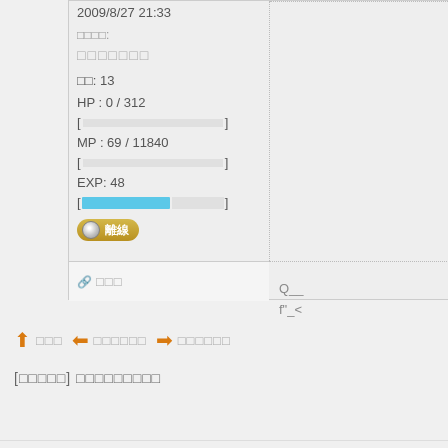2009/8/27 21:33
稱號:
□□□□□□□
等級: 13
HP : 0 / 312
[ ]
MP : 69 / 11840
[ ]
EXP: 48
[■■■■■■     ]
離線
Q__
f"_<
O ▽O............   □□□□□□□□
🔗 □□□
⬆ □□□  ⬅ □□□□□□  ➡ □□□□□□
[□□□□□] □□□□□□□□□